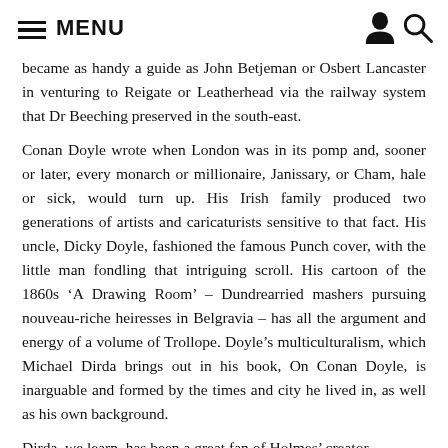MENU
became as handy a guide as John Betjeman or Osbert Lancaster in venturing to Reigate or Leatherhead via the railway system that Dr Beeching preserved in the south-east.
Conan Doyle wrote when London was in its pomp and, sooner or later, every monarch or millionaire, Janissary, or Cham, hale or sick, would turn up. His Irish family produced two generations of artists and caricaturists sensitive to that fact. His uncle, Dicky Doyle, fashioned the famous Punch cover, with the little man fondling that intriguing scroll. His cartoon of the 1860s ‘A Drawing Room’ – Dundrearied mashers pursuing nouveau-riche heiresses in Belgravia – has all the argument and energy of a volume of Trollope. Doyle’s multiculturalism, which Michael Dirda brings out in his book, On Conan Doyle, is inarguable and formed by the times and city he lived in, as well as his own background.
Dirda, we learn, has been a great fan of Holmes’ creator